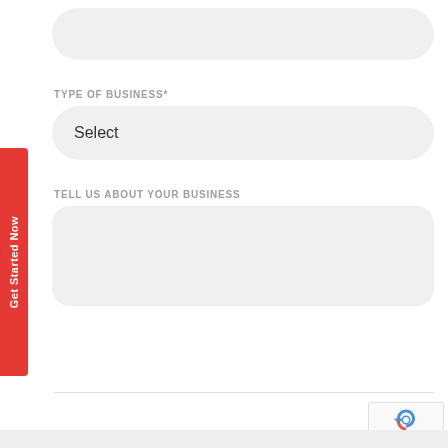[Figure (screenshot): Top partially visible input field (text input box with rounded corners, light gray background)]
TYPE OF BUSINESS*
Select
TELL US ABOUT YOUR BUSINESS
[Figure (screenshot): Large textarea input box with rounded corners and light gray background]
SEND MESSAGE
Get Started Now
[Figure (logo): Google reCAPTCHA badge with recycling-arrow icon and Privacy - Terms text]